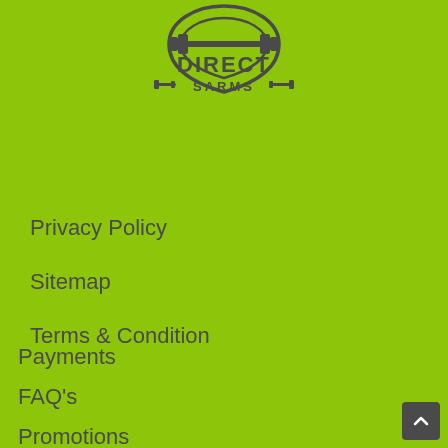[Figure (logo): Direct SARMs logo with barbell icon and text DIRECT SARMS]
Privacy Policy
Sitemap
Terms & Condition
Payments
FAQ's
Promotions
Quality Assurance